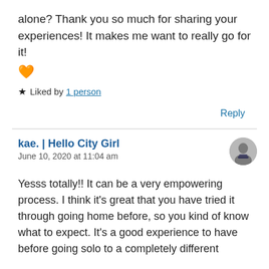alone? Thank you so much for sharing your experiences! It makes me want to really go for it! 🧡
★ Liked by 1 person
Reply
kae. | Hello City Girl
June 10, 2020 at 11:04 am
Yesss totally!! It can be a very empowering process. I think it's great that you have tried it through going home before, so you kind of know what to expect. It's a good experience to have before going solo to a completely different